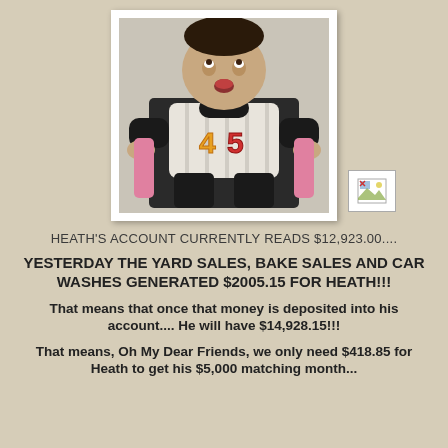[Figure (photo): A baby/toddler sitting in a pink chair, wearing a white shirt with '45' on it and black sleeves, looking upward. Photo has a white border frame. A small broken image icon appears to the right.]
HEATH'S ACCOUNT CURRENTLY READS $12,923.00....
YESTERDAY THE YARD SALES, BAKE SALES AND CAR WASHES GENERATED $2005.15 FOR HEATH!!!
That means that once that money is deposited into his account.... He will have $14,928.15!!!
That means, Oh My Dear Friends, we only need $418.85 for Heath to get his $5,000 matching month...